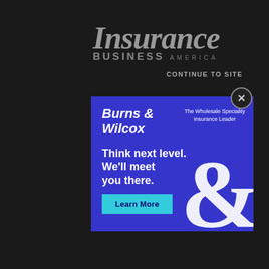Insurance BUSINESS AMERICA
CONTINUE TO SITE
[Figure (logo): Burns & Wilcox advertisement on blue background. Text: Burns & Wilcox | The Wholesale Speciality Insurance Leader | Think next level. We'll meet you there. | Learn More button. Large ampersand decorative element in white.]
Learn More